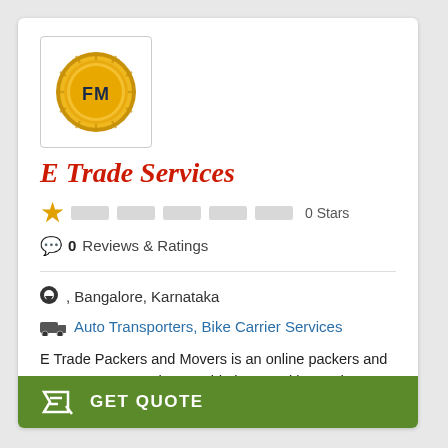[Figure (logo): Gold circular badge/seal logo with letters FM on dark blue background, inside a square bordered box]
E Trade Services
0 Stars
0 Reviews & Ratings
, Bangalore, Karnataka
Auto Transporters, Bike Carrier Services
E Trade Packers and Movers is an online packers and movers company that provide best packing and moving, home relocation, international relocation, door to door transportation, corporate relocation, furniture moving, delicate items moving, auto transportation ...
GET QUOTE